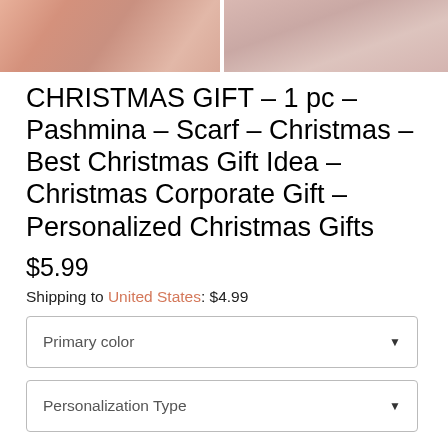[Figure (photo): Two photos of pashmina/yarn material side by side: left shows pink/salmon colored yarn wound in skeins, right shows pink/mauve fringe or tassel threads.]
CHRISTMAS GIFT - 1 pc - Pashmina - Scarf - Christmas - Best Christmas Gift Idea - Christmas Corporate Gift - Personalized Christmas Gifts
$5.99
Shipping to United States: $4.99
Primary color
Personalization Type